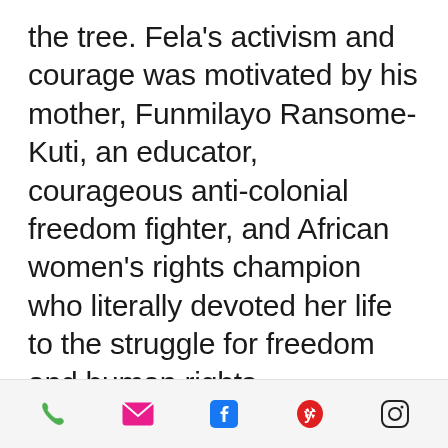the tree. Fela's activism and courage was motivated by his mother, Funmilayo Ransome-Kuti, an educator, courageous anti-colonial freedom fighter, and African women's rights champion who literally devoted her life to the struggle for freedom and human rights.
Funmilayo Ransome (born Frances Abigail Olufunmilayo Thomas) was
Phone, Email, Facebook, Yelp, Instagram icons